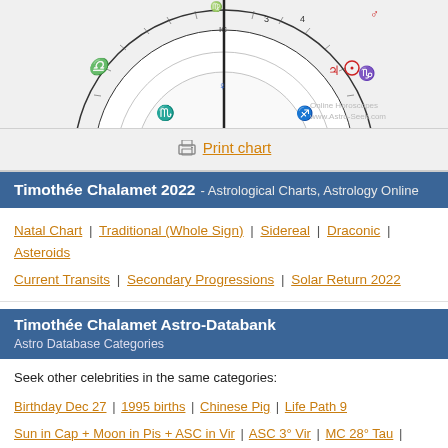[Figure (illustration): Partial astrological natal chart wheel showing zodiac signs, planets, and degree markers. Visible symbols include Libra, Scorpio, Capricorn, and planetary glyphs in red and blue. Bottom right shows text: Online Horoscopes www.Astro-Seek.com]
Print chart
Timothée Chalamet 2022 - Astrological Charts, Astrology Online
Natal Chart | Traditional (Whole Sign) | Sidereal | Draconic | Asteroids
Current Transits | Secondary Progressions | Solar Return 2022
Timothée Chalamet Astro-Databank
Astro Database Categories
Seek other celebrities in the same categories:
Birthday Dec 27 | 1995 births | Chinese Pig | Life Path 9
Sun in Cap + Moon in Pis + ASC in Vir | ASC 3° Vir | MC 28° Tau |